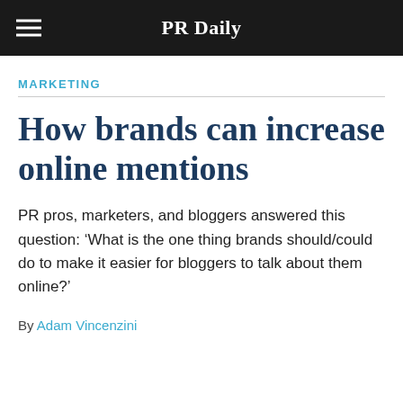PR Daily
MARKETING
How brands can increase online mentions
PR pros, marketers, and bloggers answered this question: ‘What is the one thing brands should/could do to make it easier for bloggers to talk about them online?’
By Adam Vincenzini